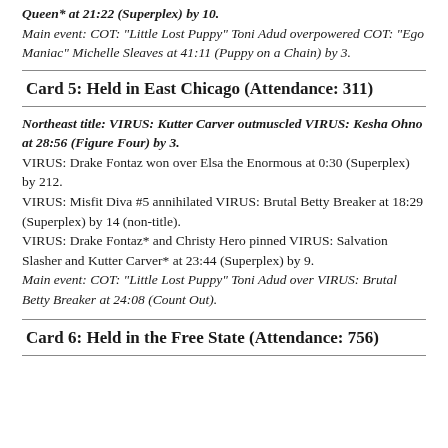Queen* at 21:22 (Superplex) by 10.
Main event: COT: "Little Lost Puppy" Toni Adud overpowered COT: "Ego Maniac" Michelle Sleaves at 41:11 (Puppy on a Chain) by 3.
Card 5: Held in East Chicago (Attendance: 311)
Northeast title: VIRUS: Kutter Carver outmuscled VIRUS: Kesha Ohno at 28:56 (Figure Four) by 3.
VIRUS: Drake Fontaz won over Elsa the Enormous at 0:30 (Superplex) by 212.
VIRUS: Misfit Diva #5 annihilated VIRUS: Brutal Betty Breaker at 18:29 (Superplex) by 14 (non-title).
VIRUS: Drake Fontaz* and Christy Hero pinned VIRUS: Salvation Slasher and Kutter Carver* at 23:44 (Superplex) by 9.
Main event: COT: "Little Lost Puppy" Toni Adud over VIRUS: Brutal Betty Breaker at 24:08 (Count Out).
Card 6: Held in the Free State (Attendance: 756)